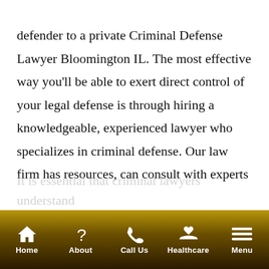defender to a private Criminal Defense Lawyer Bloomington IL. The most effective way you'll be able to exert direct control of your legal defense is through hiring a knowledgeable, experienced lawyer who specializes in criminal defense. Our law firm has resources, can consult with experts in particular fields and a staff of experienced legal researchers ready to serve our clients. The potential results of any criminal conviction upon your record can be significant and last for many years.
It is essential that criminal lawyers understand
Home | About | Call Us | Healthcare | Menu